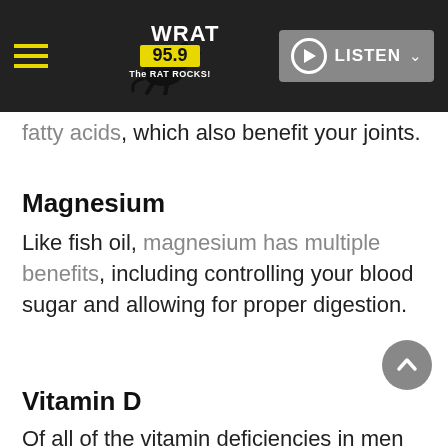WRAT 95.9 The RAT ROCKS! — LISTEN
fatty acids, which also benefit your joints.
Magnesium
Like fish oil, magnesium has multiple benefits, including controlling your blood sugar and allowing for proper digestion.
Vitamin D
Of all of the vitamin deficiencies in men and